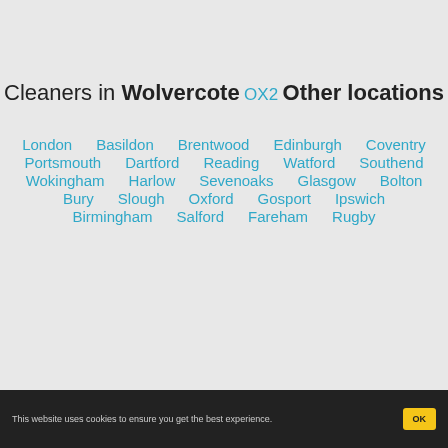Cleaners in Wolvercote
OX2
Other locations
London
Basildon
Brentwood
Edinburgh
Coventry
Portsmouth
Dartford
Reading
Watford
Southend
Wokingham
Harlow
Sevenoaks
Glasgow
Bolton
Bury
Slough
Oxford
Gosport
Ipswich
Birmingham
Salford
Fareham
Rugby
This website uses cookies to ensure you get the best experience.